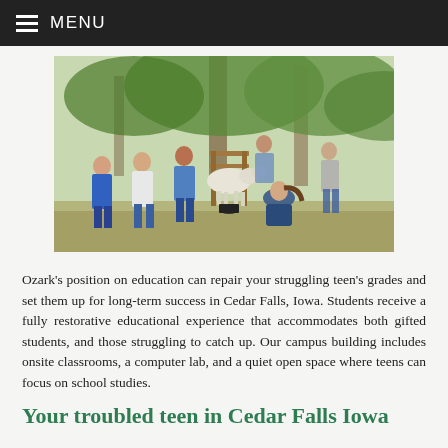≡ MENU
[Figure (photo): Group of teenagers outdoors with a goat on a wooden milking stand; one girl kneels milking the goat while several boys stand watching, with trees in the background.]
Ozark's position on education can repair your struggling teen's grades and set them up for long-term success in Cedar Falls, Iowa. Students receive a fully restorative educational experience that accommodates both gifted students, and those struggling to catch up. Our campus building includes onsite classrooms, a computer lab, and a quiet open space where teens can focus on school studies.
Your troubled teen in Cedar Falls Iowa